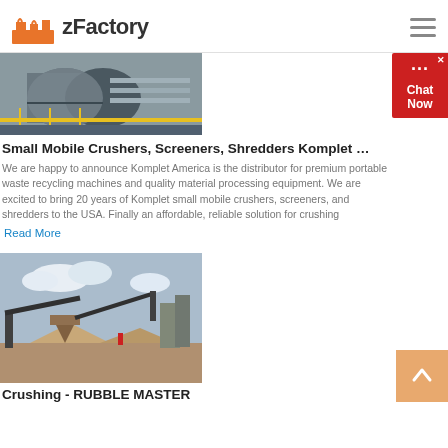zFactory
[Figure (photo): Industrial machinery - large cylindrical ball mill or similar heavy equipment in a factory/industrial setting with yellow safety railings]
Small Mobile Crushers, Screeners, Shredders Komplet …
We are happy to announce Komplet America is the distributor for premium portable waste recycling machines and quality material processing equipment. We are excited to bring 20 years of Komplet small mobile crushers, screeners, and shredders to the USA. Finally an affordable, reliable solution for crushing
Read More
[Figure (photo): Crushing and screening plant with conveyor belts, cone crusher, and stockpiles of aggregate material outdoors on a construction/mining site]
Crushing - RUBBLE MASTER